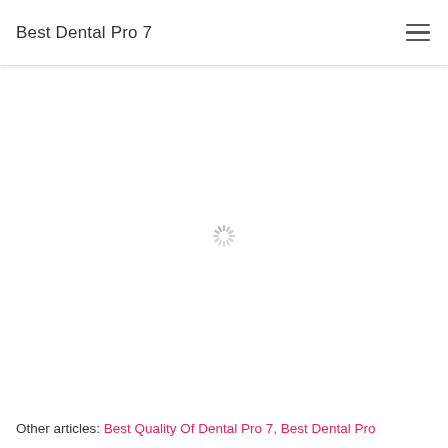Best Dental Pro 7
[Figure (other): Loading spinner icon (gray spoked wheel) centered on a white background]
Other articles: Best Quality Of Dental Pro 7, Best Dental Pro